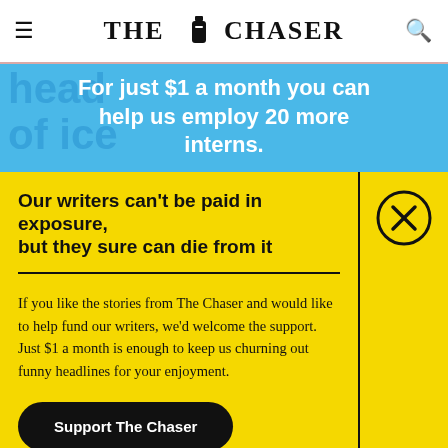THE CHASER
[Figure (infographic): Blue banner ad reading: For just $1 a month you can help us employ 20 more interns.]
Our writers can't be paid in exposure, but they sure can die from it
If you like the stories from The Chaser and would like to help fund our writers, we'd welcome the support. Just $1 a month is enough to keep us churning out funny headlines for your enjoyment.
Support The Chaser
Sick of this popup? Click here to never see this again.